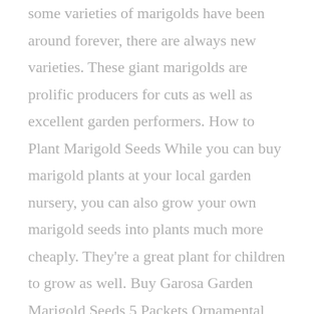some varieties of marigolds have been around forever, there are always new varieties. These giant marigolds are prolific producers for cuts as well as excellent garden performers. How to Plant Marigold Seeds While you can buy marigold plants at your local garden nursery, you can also grow your own marigold seeds into plants much more cheaply. They're a great plant for children to grow as well. Buy Garosa Garden Marigold Seeds,5 Packets Ornamental Marigold Seeds for Planting, Beauty Potting Seeds for Orchards Garden/Park from Walmart